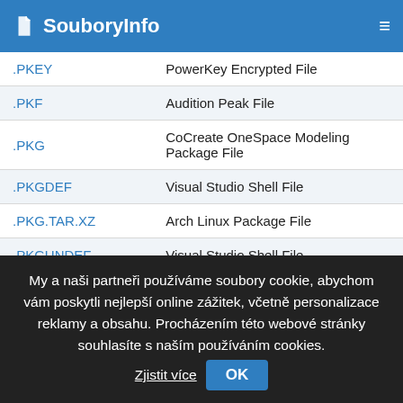SouboryInfo
| Extension | Description |
| --- | --- |
| .PKEY | PowerKey Encrypted File |
| .PKF | Audition Peak File |
| .PKG | CoCreate OneSpace Modeling Package File |
| .PKGDEF | Visual Studio Shell File |
| .PKG.TAR.XZ | Arch Linux Package File |
| .PKGUNDEF | Visual Studio Shell File |
| .PKH | Oracle Package File |
My a naši partneři používáme soubory cookie, abychom vám poskytli nejlepší online zážitek, včetně personalizace reklamy a obsahu. Procházením této webové stránky souhlasíte s naším používáním cookies. Zjistit více OK